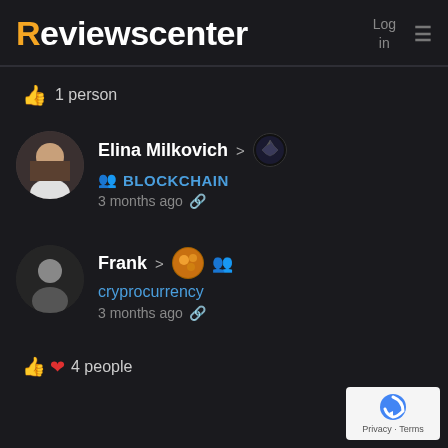Reviewscenter — Log in ≡
👍 1 person
Elina Milkovich > BLOCKCHAIN 3 months ago 🔗
Frank > cryprocurrency 3 months ago 🔗
👍❤️ 4 people